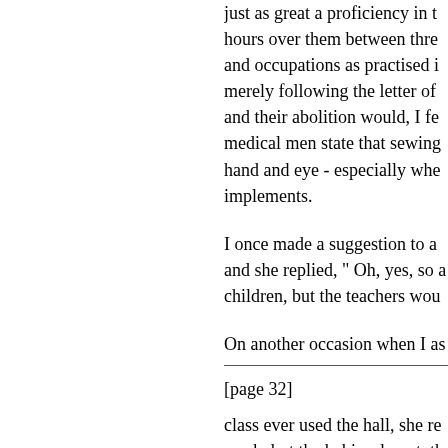just as great a proficiency in the hours over them between three and occupations as practised in merely following the letter of and their abolition would, I fe medical men state that sewing hand and eye - especially whe implements.
I once made a suggestion to a and she replied, " Oh, yes, so a children, but the teachers wou
On another occasion when I as
[page 32]
class ever used the hall, she re week, but the babies do not, th
Yet in both these schools wher absent, kindergarten occupatio place on the time table of the s
I once asked three bright child